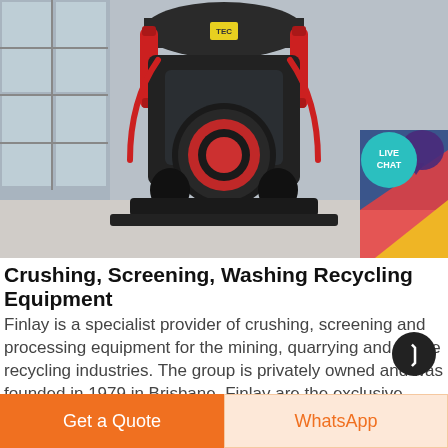[Figure (photo): Industrial cone crusher machine photographed from the front in a factory/warehouse setting. The machine is dark gray/black with red hydraulic cylinders and a red circular center at the bottom. Colorful objects visible in the background.]
Crushing, Screening, Washing Recycling Equipment
Finlay is a specialist provider of crushing, screening and processing equipment for the mining, quarrying and waste recycling industries. The group is privately owned and was founded in 1979 in Brisbane. Finlay are the exclusive dealers in Queensland, New South Wales, Victoria, South Australia, Tasmania and Papua New
Get a Quote
WhatsApp